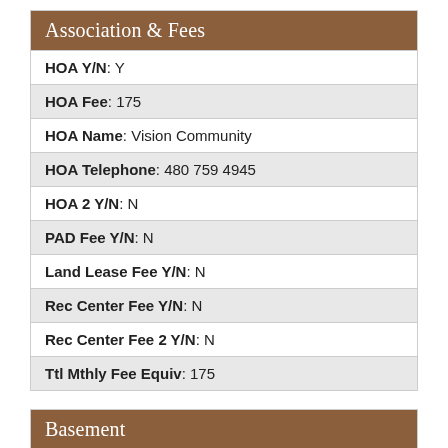Association & Fees
| HOA Y/N: Y |
| HOA Fee: 175 |
| HOA Name: Vision Community |
| HOA Telephone: 480 759 4945 |
| HOA 2 Y/N: N |
| PAD Fee Y/N: N |
| Land Lease Fee Y/N: N |
| Rec Center Fee Y/N: N |
| Rec Center Fee 2 Y/N: N |
| Ttl Mthly Fee Equiv: 175 |
Basement
| Basement Y/N: N |